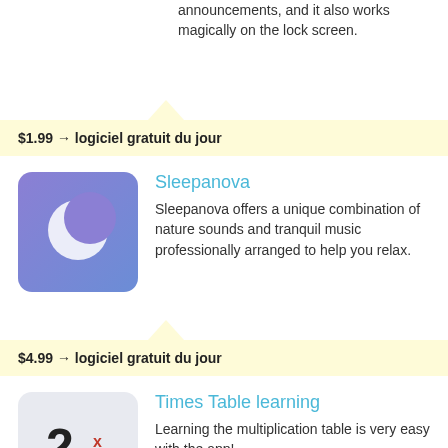announcements, and it also works magically on the lock screen.
$1.99 → logiciel gratuit du jour
[Figure (illustration): Sleepanova app icon: blue-purple gradient square with a white crescent moon]
Sleepanova
Sleepanova offers a unique combination of nature sounds and tranquil music professionally arranged to help you relax.
$4.99 → logiciel gratuit du jour
[Figure (illustration): Times Table learning app icon: light gray rounded square with bold '2' and superscript 'x' and '÷' symbols]
Times Table learning
Learning the multiplication table is very easy with the app!